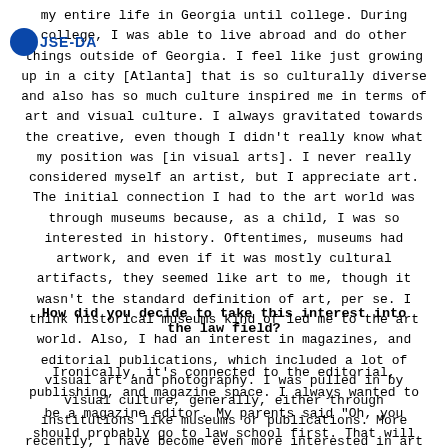my entire life in Georgia until college. During college, I was able to live abroad and do other things outside of Georgia. I feel like just growing up in a city [Atlanta] that is so culturally diverse and also has so much culture inspired me in terms of art and visual culture. I always gravitated towards the creative, even though I didn't really know what my position was [in visual arts]. I never really considered myself an artist, but I appreciate art. The initial connection I had to the art world was through museums because, as a child, I was so interested in history. Oftentimes, museums had artwork, and even if it was mostly cultural artifacts, they seemed like art to me, though it wasn't the standard definition of art, per se. I think historical museums kind of led me to the art world. Also, I had an interest in magazines, and editorial publications, which included a lot of visual art and photography. I was pulled in by visual culture, generally, either through institutions like museums or publications. More recently, I have become even more interested in art made by Black artists, internationally as well as domestically.
How did you decide to take this interest into the law field?
Ironically, it's connected to the editorial, publishing, and magazine space. I always wanted to be a magazine editor. My parents said "Oh, you should probably go to law school first. That will also give the foundation to do what you want to write"